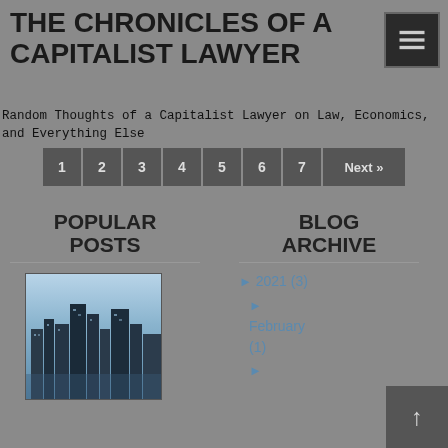THE CHRONICLES OF A CAPITALIST LAWYER
Random Thoughts of a Capitalist Lawyer on Law, Economics, and Everything Else
1 2 3 4 5 6 7 Next »
POPULAR POSTS
BLOG ARCHIVE
[Figure (photo): Aerial view of a city skyline with tall skyscrapers]
► 2021 (3)
► February (1)
►